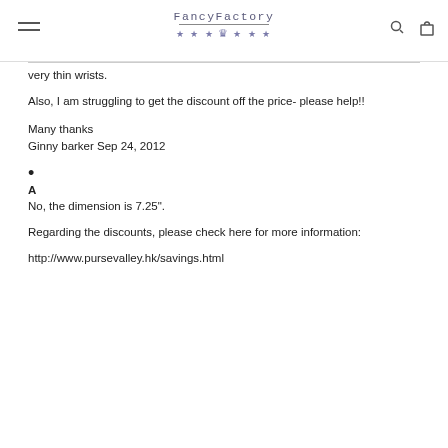FancyFactory
very thin wrists.
Also, I am struggling to get the discount off the price- please help!!
Many thanks
Ginny barker Sep 24, 2012
•
A
No, the dimension is 7.25".
Regarding the discounts, please check here for more information:
http://www.pursevalley.hk/savings.html